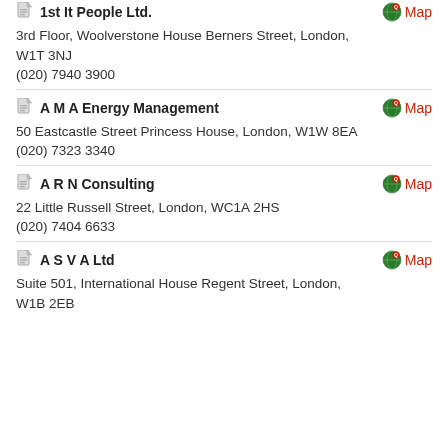1st It People Ltd. | 3rd Floor, Woolverstone House Berners Street, London, W1T 3NJ | (020) 7940 3900
A M A Energy Management | 50 Eastcastle Street Princess House, London, W1W 8EA | (020) 7323 3340
A R N Consulting | 22 Little Russell Street, London, WC1A 2HS | (020) 7404 6633
A S V A Ltd | Suite 501, International House Regent Street, London, W1B 2EB